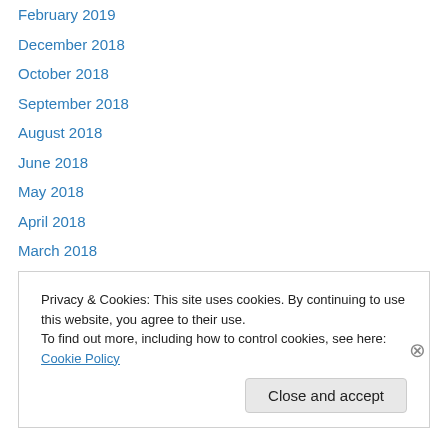February 2019
December 2018
October 2018
September 2018
August 2018
June 2018
May 2018
April 2018
March 2018
February 2018
January 2018
December 2017
November 2017
Privacy & Cookies: This site uses cookies. By continuing to use this website, you agree to their use. To find out more, including how to control cookies, see here: Cookie Policy
Close and accept